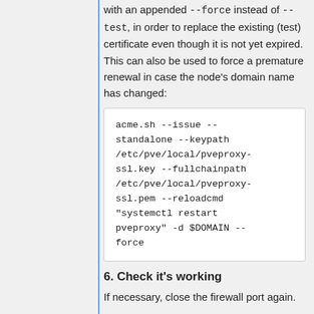with an appended --force instead of --test, in order to replace the existing (test) certificate even though it is not yet expired. This can also be used to force a premature renewal in case the node's domain name has changed:
[Figure (other): Code block: acme.sh --issue --standalone --keypath /etc/pve/local/pveproxy-ssl.key --fullchainpath /etc/pve/local/pveproxy-ssl.pem --reloadcmd "systemctl restart pveproxy" -d $DOMAIN --force]
6. Check it's working
If necessary, close the firewall port again.
The system log should inform you about